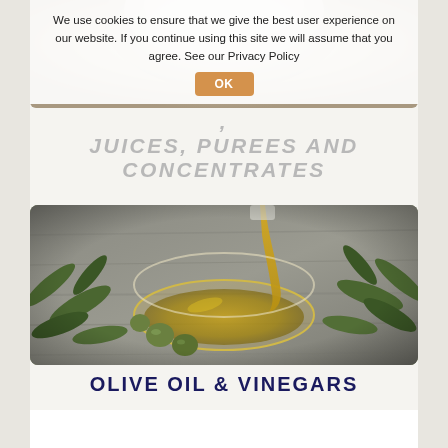[Figure (photo): Top portion of webpage showing a blurred image of what appears to be a glass bowl or jar, partially visible at the top of the page.]
We use cookies to ensure that we give the best user experience on our website. If you continue using this site we will assume that you agree. See our Privacy Policy
OK
JUICES, PUREES AND CONCENTRATES
[Figure (photo): Photograph of olive oil being poured from a container into a glass bowl, surrounded by green olives and olive branches on a wooden surface.]
OLIVE OIL & VINEGARS